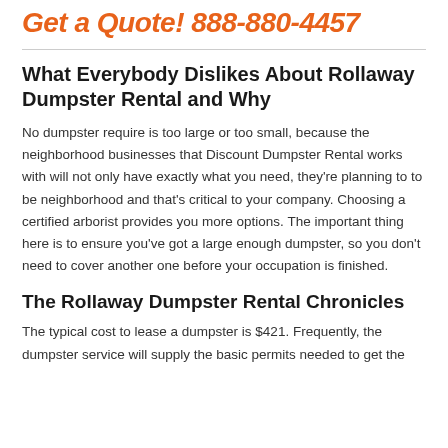Get a Quote! 888-880-4457
What Everybody Dislikes About Rollaway Dumpster Rental and Why
No dumpster require is too large or too small, because the neighborhood businesses that Discount Dumpster Rental works with will not only have exactly what you need, they're planning to to be neighborhood and that's critical to your company. Choosing a certified arborist provides you more options. The important thing here is to ensure you've got a large enough dumpster, so you don't need to cover another one before your occupation is finished.
The Rollaway Dumpster Rental Chronicles
The typical cost to lease a dumpster is $421. Frequently, the dumpster service will supply the basic permits needed to get the